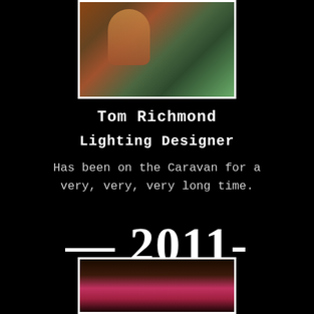[Figure (photo): Photo of Tom Richmond outdoors near water with palm-like plant in background]
Tom Richmond
Lighting Designer
Has been on the Caravan for a very, very, very long time.
— 2011-
[Figure (photo): Partial photo at bottom of page showing person with pink/red drink or object]